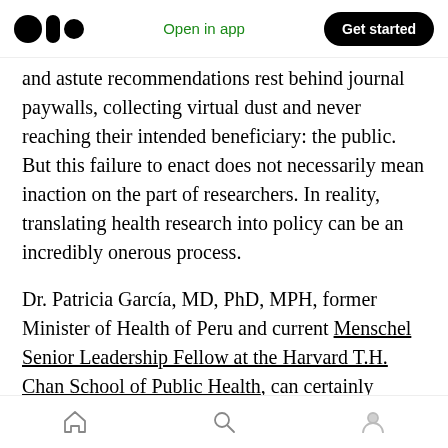Medium logo | Open in app | Get started
and astute recommendations rest behind journal paywalls, collecting virtual dust and never reaching their intended beneficiary: the public. But this failure to enact does not necessarily mean inaction on the part of researchers. In reality, translating health research into policy can be an incredibly onerous process.
Dr. Patricia García, MD, PhD, MPH, former Minister of Health of Peru and current Menschel Senior Leadership Fellow at the Harvard T.H. Chan School of Public Health, can certainly vouch for this. A leader in global health policy
Home | Search | Profile